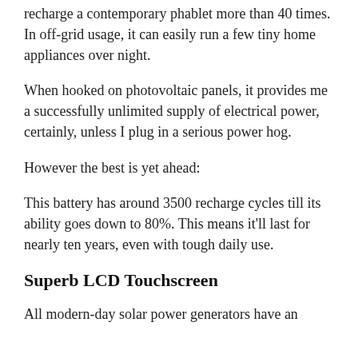recharge a contemporary phablet more than 40 times. In off-grid usage, it can easily run a few tiny home appliances over night.
When hooked on photovoltaic panels, it provides me a successfully unlimited supply of electrical power, certainly, unless I plug in a serious power hog.
However the best is yet ahead:
This battery has around 3500 recharge cycles till its ability goes down to 80%. This means it'll last for nearly ten years, even with tough daily use.
Superb LCD Touchscreen
All modern-day solar power generators have an